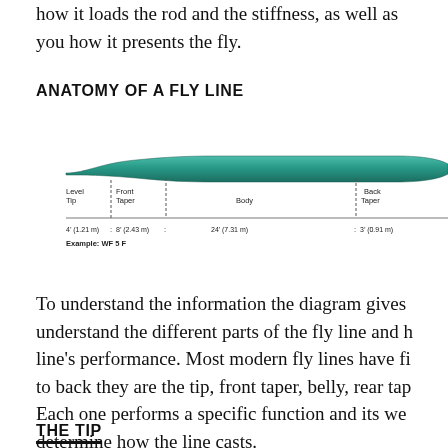how it loads the rod and the stiffness, as well as you how it presents the fly.
ANATOMY OF A FLY LINE
[Figure (engineering-diagram): Diagram of a fly line showing its cross-sectional profile: a tapered oval shape colored teal/green. Below the shape are labeled segments with measurements: Level Tip 4' (1.21 m), Front Taper 8' (2.43 m), Body 24' (7.31 m), Back Taper 3' (0.91 m). Example: WF 5 F is noted below.]
To understand the information the diagram gives understand the different parts of the fly line and h line's performance. Most modern fly lines have fi to back they are the tip, front taper, belly, rear ta Each one performs a specific function and its we determine how the line casts.
THE TIP